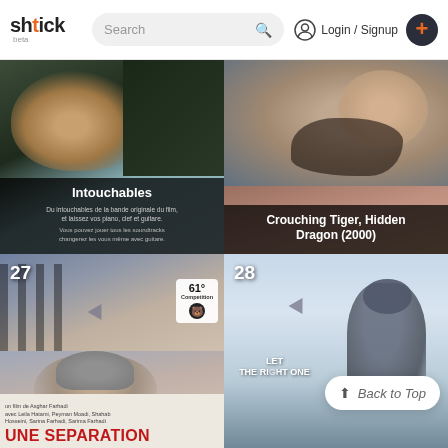shtick beta — Search — Login / Signup — +
[Figure (screenshot): Movie card for 'Intouchables' showing a close-up of a smiling older man's face with dark background. Overlay text reads 'Intouchables' with small description text below.]
[Figure (screenshot): Movie card for 'Crouching Tiger, Hidden Dragon (2000)' showing a woman's lower face with headscarf. Overlay text reads the film title.]
[Figure (screenshot): Movie card #27 for 'Une Separation' featuring poster art of a woman in grey beanie. Berlin Film Festival 61st Competition badge visible. Bottom shows red text 'UNE SEPARATION' poster with French credits.]
[Figure (screenshot): Movie card #28 for 'Let the Right One In' — atmospheric blue-grey silhouette image with 'Back to Top' button overlay. Title text 'LET THE RIGHT ONE' partially visible.]